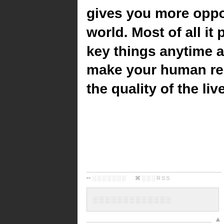gives you more opportunities to r... world. Most of all it provides you... key things anytime and how to d... make your human relationships s... the quality of the lives.
✏ (edit icon) ░░░░░░░  (RSS icon) ░░░RSS
░░░░░░░░░░░░░ (search placeholder)
▲ RETURN TOP
░░ (░░) (comment label)